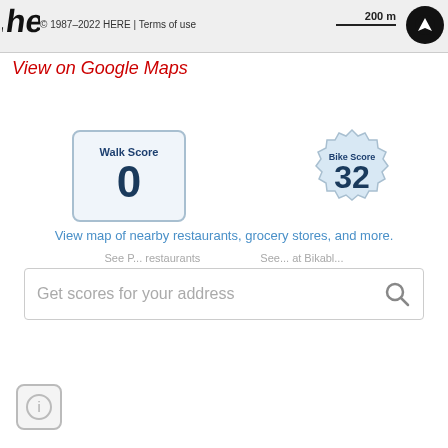[Figure (screenshot): HERE maps logo partial, cropped at top left]
© 1987–2022 HERE | Terms of use
200 m scale bar
[Figure (logo): Dark circular navigation button with white icon]
View on Google Maps
[Figure (infographic): Walk Score badge showing score of 0]
[Figure (infographic): Bike Score gear badge showing score of 32]
View map of nearby restaurants, grocery stores, and more.
Get scores for your address
[Figure (other): Bottom left partial icon, circular grey frame]